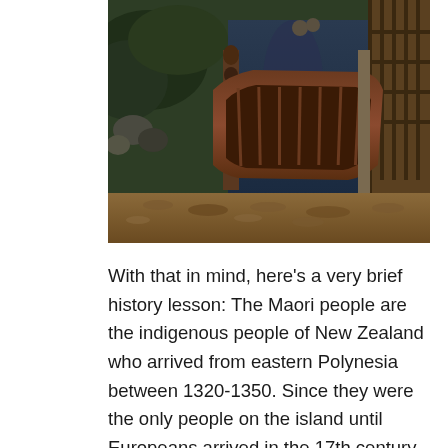[Figure (photo): A traditional Maori waka (canoe) resting in a narrow waterway or canal, flanked by carved wooden posts and a wooden fence structure. Green vegetation and rocks are visible on the left side, and gravel lines the right bank. The scene appears to be at an outdoor cultural heritage site.]
With that in mind, here's a very brief history lesson: The Maori people are the indigenous people of New Zealand who arrived from eastern Polynesia between 1320-1350. Since they were the only people on the island until Europeans arrived in the 17th century, they